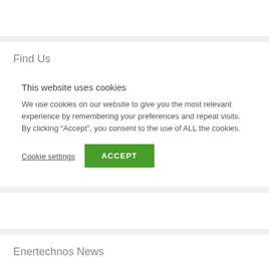Find Us
This website uses cookies
We use cookies on our website to give you the most relevant experience by remembering your preferences and repeat visits. By clicking “Accept”, you consent to the use of ALL the cookies.
Cookie settings
ACCEPT
Enertechnos News